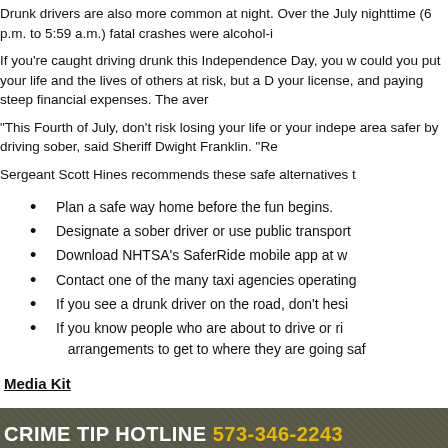Drunk drivers are also more common at night. Over the July 4th holiday period, nighttime (6 p.m. to 5:59 a.m.) fatal crashes were alcohol-in
If you're caught driving drunk this Independence Day, you w... could you put your life and the lives of others at risk, but a D... your license, and paying steep financial expenses. The aver
“This Fourth of July, don’t risk losing your life or your indepe... area safer by driving sober, said Sheriff Dwight Franklin. “Re
Sergeant Scott Hines recommends these safe alternatives t
Plan a safe way home before the fun begins.
Designate a sober driver or use public transport
Download NHTSA’s SaferRide mobile app at w
Contact one of the many taxi agencies operating
If you see a drunk driver on the road, don’t hesi
If you know people who are about to drive or ri... arrangements to get to where they are going saf
Media Kit
CRIME TIP HOTLINE 573-346-2243 OR SUBMIT VIA EMAIL CLICK HERE